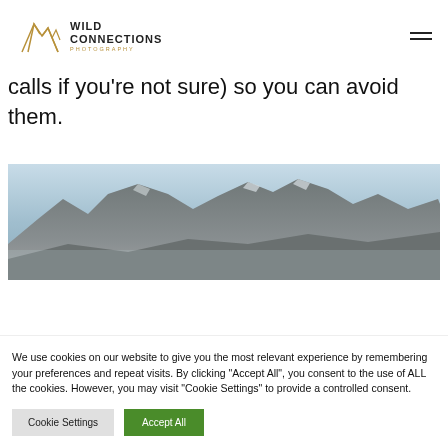[Figure (logo): Wild Connections Photography logo with mountain peak SVG illustration and text]
calls if you're not sure) so you can avoid them.
[Figure (photo): Panoramic mountain landscape photo showing rocky peaks against a pale blue sky]
We use cookies on our website to give you the most relevant experience by remembering your preferences and repeat visits. By clicking "Accept All", you consent to the use of ALL the cookies. However, you may visit "Cookie Settings" to provide a controlled consent.